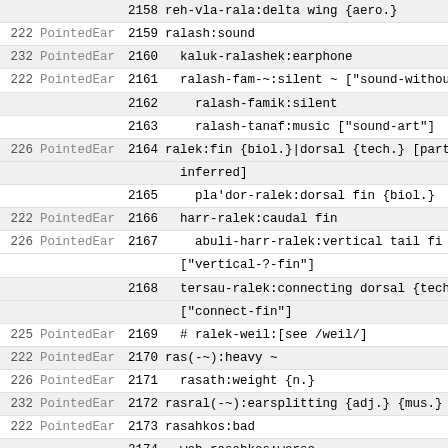| num | source | id | definition |
| --- | --- | --- | --- |
|  |  | 2158 | reh-vla-rala:delta wing {aero.} |
| 222 | PointedEar | 2159 | ralash:sound |
| 232 | PointedEar | 2160 | kaluk-ralashek:earphone |
| 222 | PointedEar | 2161 | ralash-fam-~:silent ~ ["sound-withou |
|  |  | 2162 | ralash-famik:silent |
|  |  | 2163 | ralash-tanaf:music ["sound-art"] |
| 226 | PointedEar | 2164 | ralek:fin {biol.}|dorsal {tech.} [part inferred] |
|  |  | 2165 | pla'dor-ralek:dorsal fin {biol.} |
| 222 | PointedEar | 2166 | harr-ralek:caudal fin |
| 226 | PointedEar | 2167 | abuli-harr-ralek:vertical tail fi ["vertical-?-fin"] |
|  |  | 2168 | tersau-ralek:connecting dorsal {tech ["connect-fin"] |
| 225 | PointedEar | 2169 | # ralek-weil:[see /weil/] |
| 222 | PointedEar | 2170 | ras(-~):heavy ~ |
| 226 | PointedEar | 2171 | rasath:weight {n.} |
| 232 | PointedEar | 2172 | rasral(-~):earsplitting {adj.} {mus.} |
| 222 | PointedEar | 2173 | rasahkos:bad |
|  |  | 2174 | weh-rasahkos:worse |
|  |  | 2175 | ravot:insect|bug |